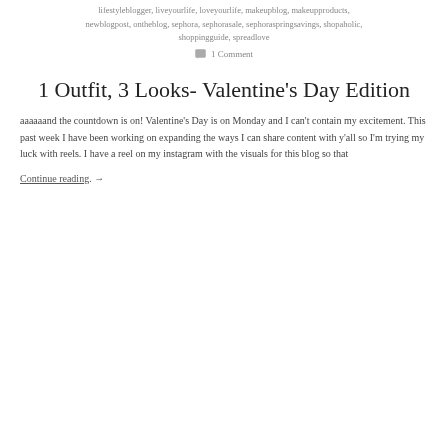lifestyleblogger, liveyourlife, loveyourlife, makeupblog, makeupproducts, newblogpost, ontheblog, sephora, sephorasale, sephoraspringsavings, shopaholic, shoppingguide, spreadlove
1 Comment
1 Outfit, 3 Looks- Valentine's Day Edition
aaaaaand the countdown is on! Valentine's Day is on Monday and I can't contain my excitement. This past week I have been working on expanding the ways I can share content with y'all so I'm trying my luck with reels. I have a reel on my instagram with the visuals for this blog so that
Continue reading. →